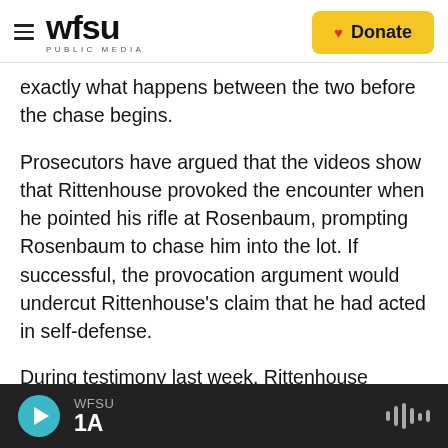WFSU PUBLIC MEDIA | Donate
exactly what happens between the two before the chase begins.
Prosecutors have argued that the videos show that Rittenhouse provoked the encounter when he pointed his rifle at Rosenbaum, prompting Rosenbaum to chase him into the lot. If successful, the provocation argument would undercut Rittenhouse's claim that he had acted in self-defense.
During testimony last week, Rittenhouse denied pointing his rifle at Rosenbaum before the chase.
WFSU 1A [audio player]